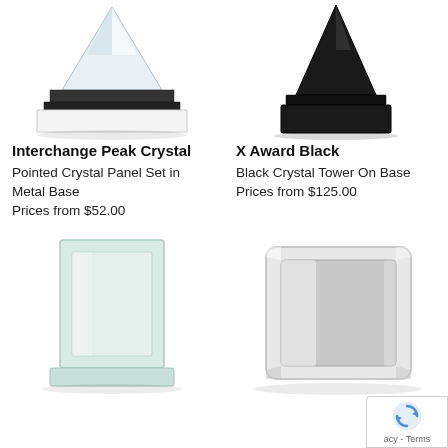[Figure (photo): Interchange Peak Crystal award – pointed crystal panel set in metal base, cropped view showing lower portion]
[Figure (photo): X Award Black – black crystal tower on base, cropped view showing lower portion]
Interchange Peak Crystal
Pointed Crystal Panel Set in Metal Base
Prices from $52.00
X Award Black
Black Crystal Tower On Base
Prices from $125.00
[Figure (photo): Clear glass plaque award with rectangular panel on a base]
[Figure (photo): Thick clear crystal block award, rectangular with rounded edges and mirrored silver center]
acy - Terms